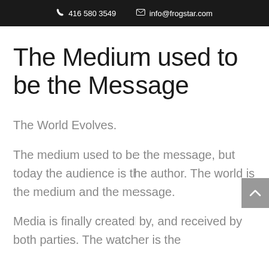☎ 416 580 3549   ✉ info@frogstar.com
The Medium used to be the Message
The World Evolves.
The medium used to be the message, but today the audience is the author. The world is the medium and the message.
Media is finally created by, and received by both parties. The watcher is the